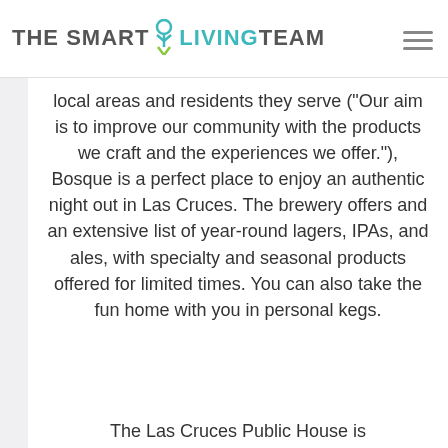THE SMART LIVING TEAM
local areas and residents they serve ("Our aim is to improve our community with the products we craft and the experiences we offer."), Bosque is a perfect place to enjoy an authentic night out in Las Cruces. The brewery offers and an extensive list of year-round lagers, IPAs, and ales, with specialty and seasonal products offered for limited times. You can also take the fun home with you in personal kegs.
The Las Cruces Public House is